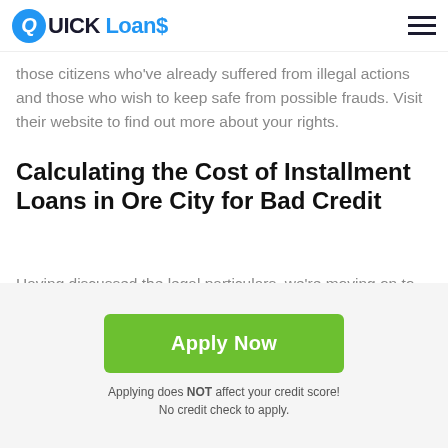QUICK Loans
those citizens who've already suffered from illegal actions and those who wish to keep safe from possible frauds. Visit their website to find out more about your rights.
Calculating the Cost of Installment Loans in Ore City for Bad Credit
Having discussed the legal particulars, we're moving on to the more practical part. Let's check out the numbers: how much you can borrow, what percentage rates you should expect, and how to learn the total cost of a loan.
Apply Now
Applying does NOT affect your credit score!
No credit check to apply.